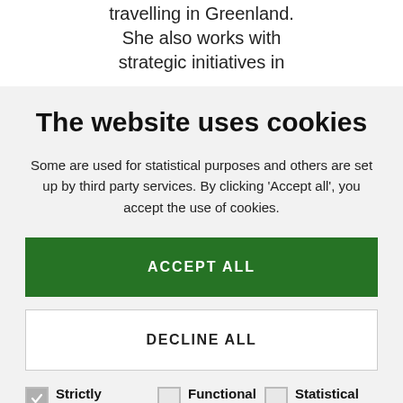travelling in Greenland. She also works with strategic initiatives in
The website uses cookies
Some are used for statistical purposes and others are set up by third party services. By clicking ‘Accept all’, you accept the use of cookies.
ACCEPT ALL
DECLINE ALL
Strictly necessary
Functional
Statistical
Marketing
SHOW DETAILS